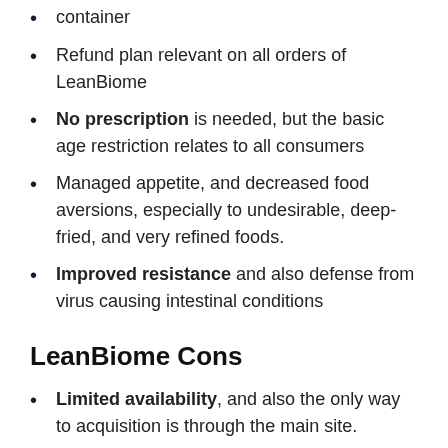container
Refund plan relevant on all orders of LeanBiome
No prescription is needed, but the basic age restriction relates to all consumers
Managed appetite, and decreased food aversions, especially to undesirable, deep-fried, and very refined foods.
Improved resistance and also defense from virus causing intestinal conditions
LeanBiome Cons
Limited availability, and also the only way to acquisition is through the main site.
Not offered at drug stores, warehouse stores,